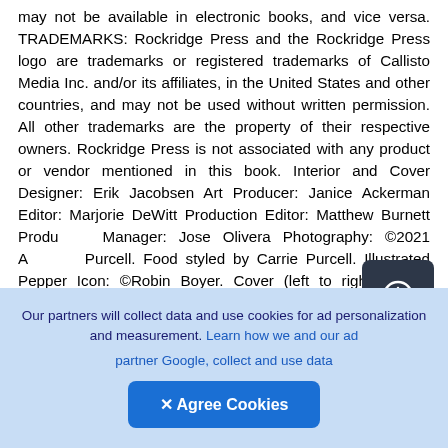may not be available in electronic books, and vice versa. TRADEMARKS: Rockridge Press and the Rockridge Press logo are trademarks or registered trademarks of Callisto Media Inc. and/or its affiliates, in the United States and other countries, and may not be used without written permission. All other trademarks are the property of their respective owners. Rockridge Press is not associated with any product or vendor mentioned in this book. Interior and Cover Designer: Erik Jacobsen Art Producer: Janice Ackerman Editor: Marjorie DeWitt Production Editor: Matthew Burnett Production Manager: Jose Olivera Photography: ©2021 Erin Purcell. Food styled by Carrie Purcell. Illustrated Pepper Icon: ©Robin Boyer. Cover (left to right): Rajan Pepper Sauce, page 53; Honey Jalapeño
[Figure (other): Dark rounded square UI button with a circled plus/upload icon in white]
Our partners will collect data and use cookies for ad personalization and measurement. Learn how we and our ad partner Google, collect and use data
[Figure (other): Blue Agree Cookies button with X icon]